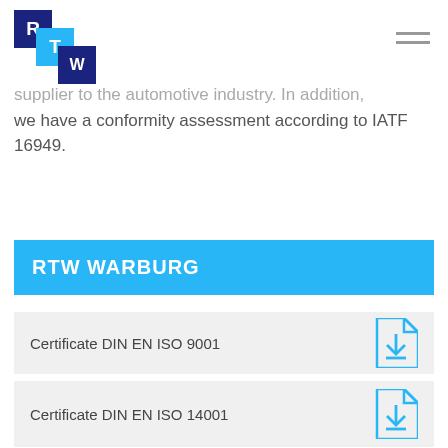[Figure (logo): RTW logo composed of three overlapping squares: dark blue R, light blue T, dark blue W]
supplier to the automotive industry. In addition, we have a conformity assessment according to IATF 16949.
RTW WARBURG
Certificate DIN EN ISO 9001
Certificate DIN EN ISO 14001